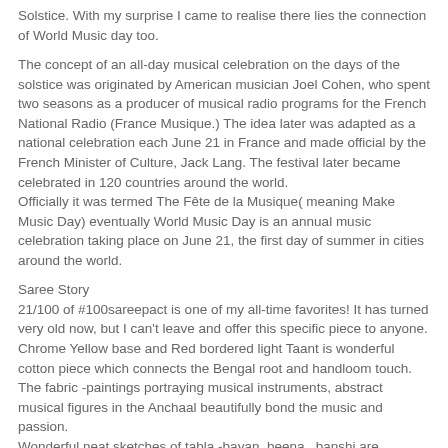Solstice. With my surprise I came to realise there lies the connection of World Music day too.
The concept of an all-day musical celebration on the days of the solstice was originated by American musician Joel Cohen, who spent two seasons as a producer of musical radio programs for the French National Radio (France Musique.) The idea later was adapted as a national celebration each June 21 in France and made official by the French Minister of Culture, Jack Lang. The festival later became celebrated in 120 countries around the world.
Officially it was termed The Fête de la Musique( meaning Make Music Day) eventually World Music Day is an annual music celebration taking place on June 21, the first day of summer in cities around the world.
Saree Story
21/100 of #100sareepact is one of my all-time favorites! It has turned very old now, but I can't leave and offer this specific piece to anyone. Chrome Yellow base and Red bordered light Taant is wonderful cotton piece which connects the Bengal root and handloom touch.
The fabric -paintings portraying musical instruments, abstract musical figures in the Anchaal beautifully bond the music and passion.
Wonderful neat sketches of tabla -bayan, beena , banshi are captivating....
The Pose
Crazy me and Crazy shoot of mine!